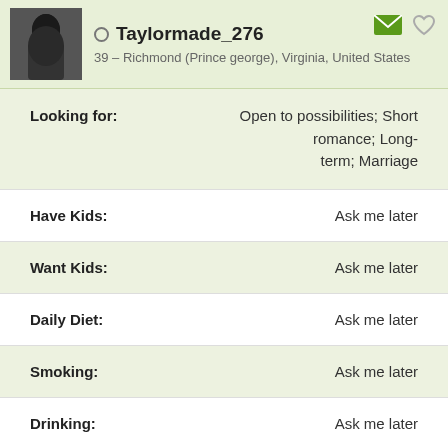Taylormade_276 — 39 – Richmond (Prince george), Virginia, United States
| Field | Value |
| --- | --- |
| Looking for: | Open to possibilities; Short romance; Long-term; Marriage |
| Have Kids: | Ask me later |
| Want Kids: | Ask me later |
| Daily Diet: | Ask me later |
| Smoking: | Ask me later |
| Drinking: | Ask me later |
| Education: | Ask me later |
| Occupation: | Ask me later |